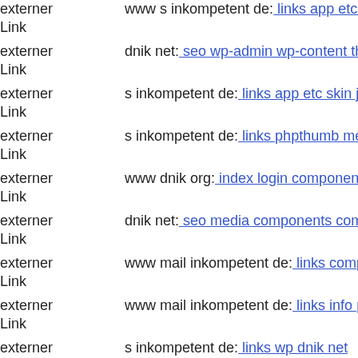externer Link  www s inkompetent de: links app etc skin administrator ima
externer Link  dnik net: seo wp-admin wp-content themes wigi dnik net
externer Link  s inkompetent de: links app etc skin jwallpapers files pluplo
externer Link  s inkompetent de: links phpthumb media skin componentsx
externer Link  www dnik org: index login components com b2jcontact upl
externer Link  dnik net: seo media components com b2jcontact 404 php
externer Link  www mail inkompetent de: links components com b2jconta
externer Link  www mail inkompetent de: links info php
externer Link  s inkompetent de: links wp dnik net
externer Link  s inkompetent de: links phpthumb media skin
externer Link  www dnik net: seo wp-content plugins twentyfourteen wp-c
externer Link  www dnik net: seo media components com b2jcontact skin